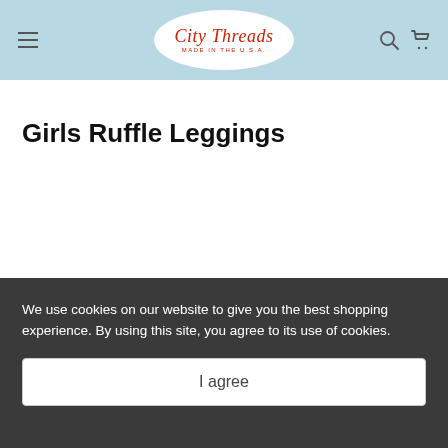City Threads — MADE IN THE U.S.A.
Girls Ruffle Leggings
We use cookies on our website to give you the best shopping experience. By using this site, you agree to its use of cookies.